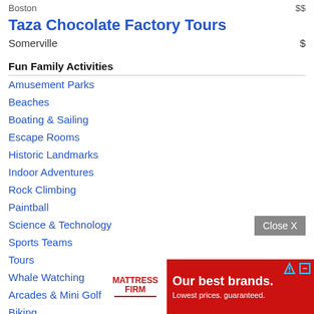Boston  $$
Taza Chocolate Factory Tours
Somerville  $
Fun Family Activities
Amusement Parks
Beaches
Boating & Sailing
Escape Rooms
Historic Landmarks
Indoor Adventures
Rock Climbing
Paintball
Science & Technology
Sports Teams
Tours
Whale Watching
Arcades & Mini Golf
Biking
Bowling
Farms &
[Figure (screenshot): Mattress Firm advertisement banner: red background with white text 'Our best brands. Lowest prices. guaranteed.' and Mattress Firm logo on white background on left side.]